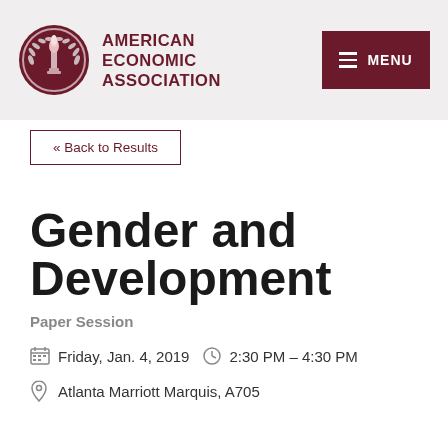AMERICAN ECONOMIC ASSOCIATION
« Back to Results
Gender and Development
Paper Session
Friday, Jan. 4, 2019  2:30 PM – 4:30 PM
Atlanta Marriott Marquis, A705